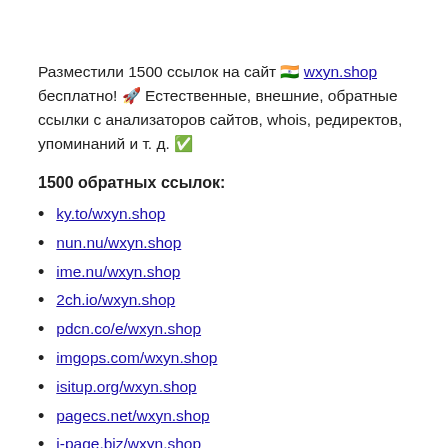Разместили 1500 ссылок на сайт 🇮🇳 wxyn.shop бесплатно! 🚀 Естественные, внешние, обратные ссылки с анализаторов сайтов, whois, редиректов, упоминаний и т. д. ✅
1500 обратных ссылок:
ky.to/wxyn.shop
nun.nu/wxyn.shop
ime.nu/wxyn.shop
2ch.io/wxyn.shop
pdcn.co/e/wxyn.shop
imgops.com/wxyn.shop
isitup.org/wxyn.shop
pagecs.net/wxyn.shop
j-page.biz/wxyn.shop
norefs.com/wxyn.shop